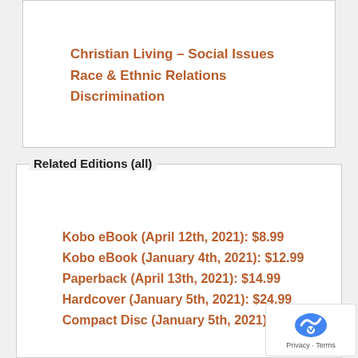Christian Living - Social Issues
Race & Ethnic Relations
Discrimination
Related Editions (all)
Kobo eBook (April 12th, 2021): $8.99
Kobo eBook (January 4th, 2021): $12.99
Paperback (April 13th, 2021): $14.99
Hardcover (January 5th, 2021): $24.99
Compact Disc (January 5th, 2021): $34.